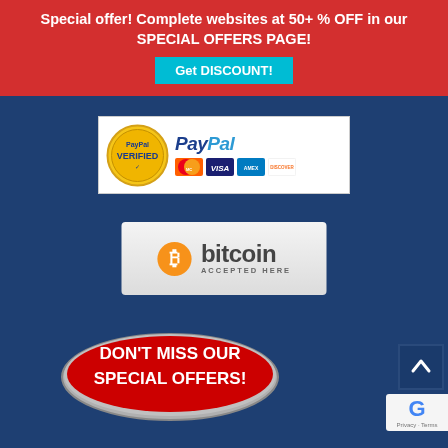Special offer! Complete websites at 50+ % OFF in our SPECIAL OFFERS PAGE!
Get DISCOUNT!
[Figure (logo): PayPal Verified badge with MasterCard, VISA, American Express, and Discover card icons]
[Figure (logo): Bitcoin Accepted Here badge with orange Bitcoin logo]
[Figure (infographic): Don't Miss Our Special Offers! button badge in red and silver]
[Figure (other): Scroll to top arrow button and reCAPTCHA privacy/terms area]